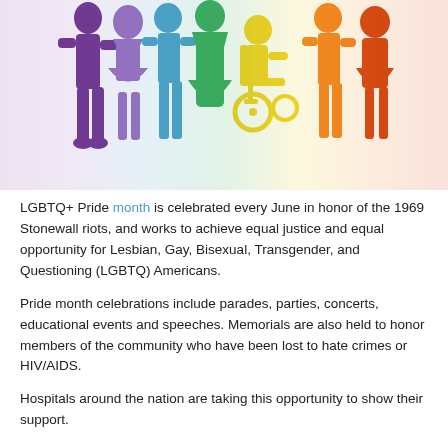[Figure (illustration): Rainbow-colored silhouettes of diverse people including a person in a wheelchair, standing side by side on a white background, representing LGBTQ+ Pride diversity.]
LGBTQ+ Pride month is celebrated every June in honor of the 1969 Stonewall riots, and works to achieve equal justice and equal opportunity for Lesbian, Gay, Bisexual, Transgender, and Questioning (LGBTQ) Americans.
Pride month celebrations include parades, parties, concerts, educational events and speeches. Memorials are also held to honor members of the community who have been lost to hate crimes or HIV/AIDS.
Hospitals around the nation are taking this opportunity to show their support.
The Downtown Somerville Alliance joined with Robert Wood Johnson University Hospital/Somerset and the Babs Siperstein Proud